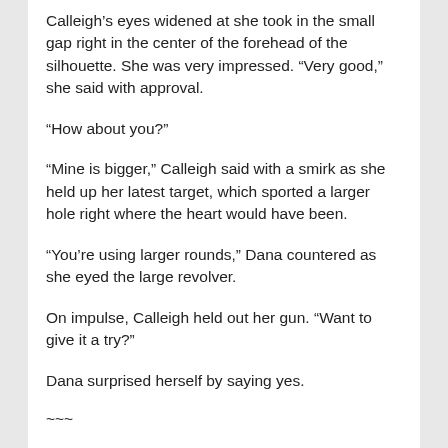Calleigh's eyes widened at she took in the small gap right in the center of the forehead of the silhouette. She was very impressed. "Very good," she said with approval.
“How about you?”
“Mine is bigger,” Calleigh said with a smirk as she held up her latest target, which sported a larger hole right where the heart would have been.
“You’re using larger rounds,” Dana countered as she eyed the large revolver.
On impulse, Calleigh held out her gun. “Want to give it a try?”
Dana surprised herself by saying yes.
~~~
Calleigh watched as the redhead loaded the revolver and